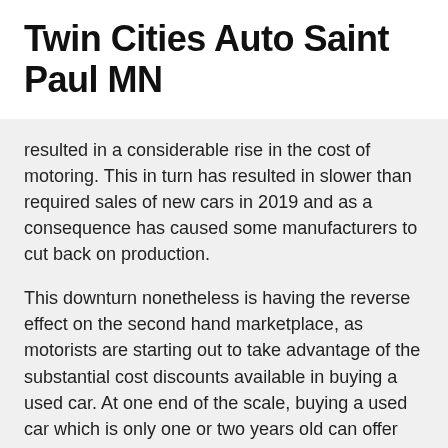Twin Cities Auto Saint Paul MN
resulted in a considerable rise in the cost of motoring. This in turn has resulted in slower than required sales of new cars in 2019 and as a consequence has caused some manufacturers to cut back on production.
This downturn nonetheless is having the reverse effect on the second hand marketplace, as motorists are starting out to take advantage of the substantial cost discounts available in buying a used car. At one end of the scale, buying a used car which is only one or two years old can offer the customers a depreciation in its ‘as new’ price of up to 40 to 50 percent. This is especially true with luxury cars. At the other end of the scale, great bargains can be found on slightly older models if you know what